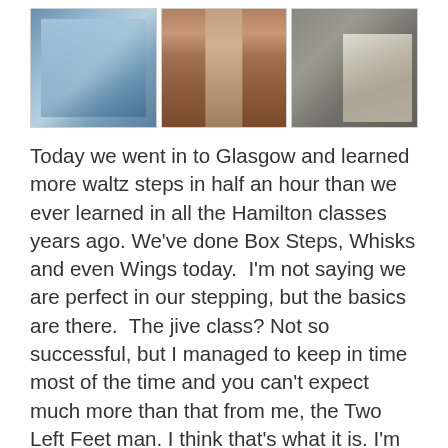[Figure (photo): Three photographs in a row: left shows a glass building facade with reflections, center shows an alleyway or corridor with brick/wooden walls, right shows a street mural of a figure running or dancing on a brick wall.]
Today we went in to Glasgow and learned more waltz steps in half an hour than we ever learned in all the Hamilton classes years ago. We've done Box Steps, Whisks and even Wings today.  I'm not saying we are perfect in our stepping, but the basics are there.  The jive class? Not so successful, but I managed to keep in time most of the time and you can't expect much more than that from me, the Two Left Feet man. I think that's what it is. I'm having problems getting my feet to move properly. Salsa is such a lazy dance for the leader. The